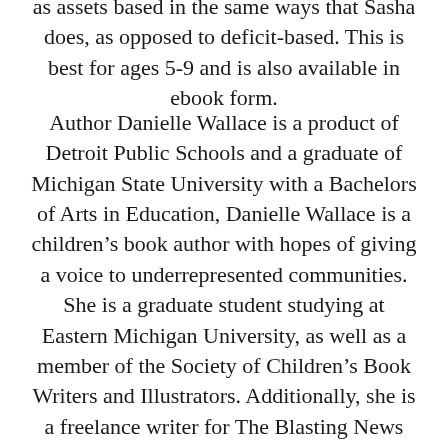as assets based in the same ways that Sasha does, as opposed to deficit-based. This is best for ages 5-9 and is also available in ebook form.
Author Danielle Wallace is a product of Detroit Public Schools and a graduate of Michigan State University with a Bachelors of Arts in Education, Danielle Wallace is a children's book author with hopes of giving a voice to underrepresented communities. She is a graduate student studying at Eastern Michigan University, as well as a member of the Society of Children's Book Writers and Illustrators. Additionally, she is a freelance writer for The Blasting News online publication. Upon completing her undergraduate degree in education and entering the work field, she has worked to design and facilitate youth programs and staff professional development workshops targeted toward enhancing cultural